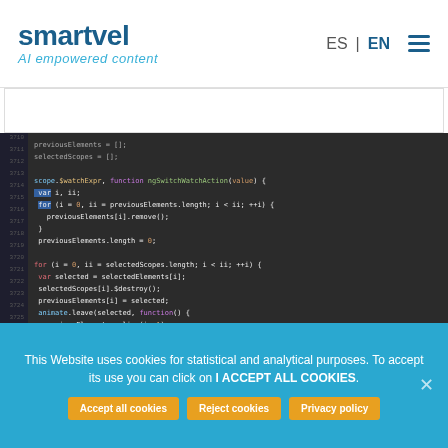[Figure (logo): Smartvel logo with 'smartvel' in dark blue and tagline 'AI empowered content' in light blue italic]
ES | EN ☰
[Figure (screenshot): Dark code editor screenshot showing JavaScript code with colored syntax highlighting on a dark background, displayed on a tablet screen]
This Website uses cookies for statistical and analytical purposes. To accept its use you can click on I ACCEPT ALL COOKIES.
Accept all cookies
Reject cookies
Privacy policy